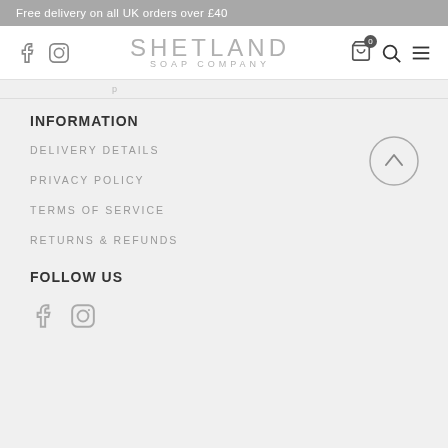Free delivery on all UK orders over £40
[Figure (logo): Shetland Soap Company logo with Facebook and Instagram icons on the left, cart/search/menu icons on the right]
INFORMATION
DELIVERY DETAILS
PRIVACY POLICY
TERMS OF SERVICE
RETURNS & REFUNDS
FOLLOW US
[Figure (illustration): Facebook and Instagram social media icons]